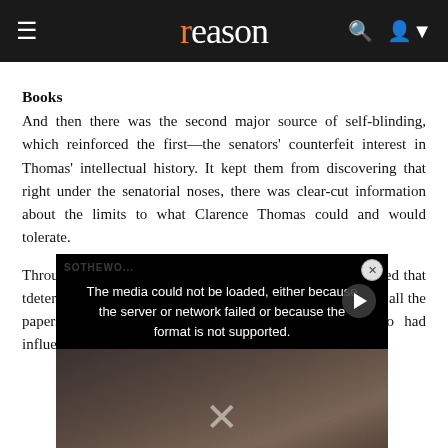reason
Books
And then there was the second major source of self-blinding, which reinforced the first—the senators' counterfeit interest in Thomas' intellectual history. It kept them from discovering that right under the senatorial noses, there was clear-cut information about the limits to what Clarence Thomas could and would tolerate.
Throughout the hearing the Democrats in particular pretended that t[he senators were] determined to d[iscover...] Republicans we[re...] that up to the D[...] all the papers a[nd...] interviews he ha[d given...] he had read, the authors who had influenced him. All,
[Figure (screenshot): Video player overlay showing error message: 'The media could not be loaded, either because the server or network failed or because the format is not supported.' with a play button and X close button.]